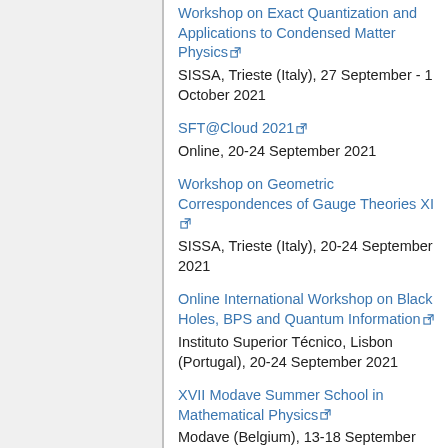Workshop on Exact Quantization and Applications to Condensed Matter Physics
SISSA, Trieste (Italy), 27 September - 1 October 2021
SFT@Cloud 2021
Online, 20-24 September 2021
Workshop on Geometric Correspondences of Gauge Theories XI
SISSA, Trieste (Italy), 20-24 September 2021
Online International Workshop on Black Holes, BPS and Quantum Information
Instituto Superior Técnico, Lisbon (Portugal), 20-24 September 2021
XVII Modave Summer School in Mathematical Physics
Modave (Belgium), 13-18 September